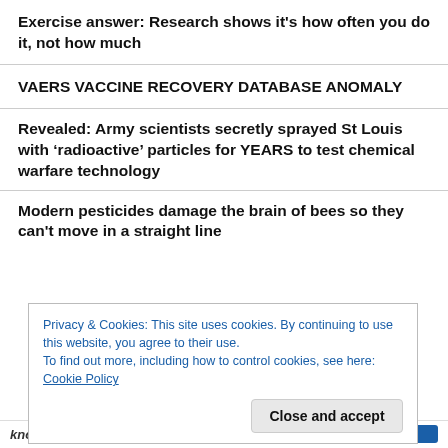Exercise answer: Research shows it’s how often you do it, not how much
VAERS VACCINE RECOVERY DATABASE ANOMALY
Revealed: Army scientists secretly sprayed St Louis with ‘radioactive’ particles for YEARS to test chemical warfare technology
Modern pesticides damage the brain of bees so they can’t move in a straight line
Privacy & Cookies: This site uses cookies. By continuing to use this website, you agree to their use.
To find out more, including how to control cookies, see here: Cookie Policy
know it